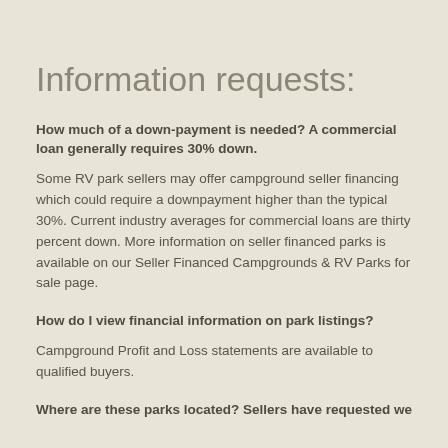Information requests:
How much of a down-payment is needed? A commercial loan generally requires 30% down.
Some RV park sellers may offer campground seller financing which could require a downpayment higher than the typical 30%. Current industry averages for commercial loans are thirty percent down. More information on seller financed parks is available on our Seller Financed Campgrounds & RV Parks for sale page.
How do I view financial information on park listings?
Campground Profit and Loss statements are available to qualified buyers.
Where are these parks located? Sellers have requested we